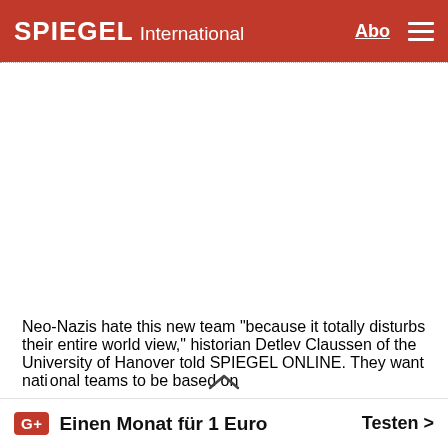SPIEGEL International
[Figure (screenshot): Toolbar with bookmark icon on left and share icons (Twitter, Facebook, more, share) on right, separated by dotted border lines]
Neo-Nazis hate this new team "because it totally disturbs their entire world view," historian Detlev Claussen of the University of Hanover told SPIEGEL ONLINE. They want national teams to be based on
G+ Einen Monat für 1 Euro   Testen >